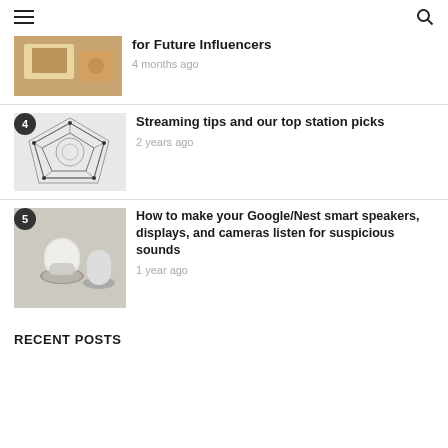for Future Influencers | 4 months ago
4 | Streaming tips and our top station picks | 2 years ago
5 | How to make your Google/Nest smart speakers, displays, and cameras listen for suspicious sounds | 1 year ago
RECENT POSTS